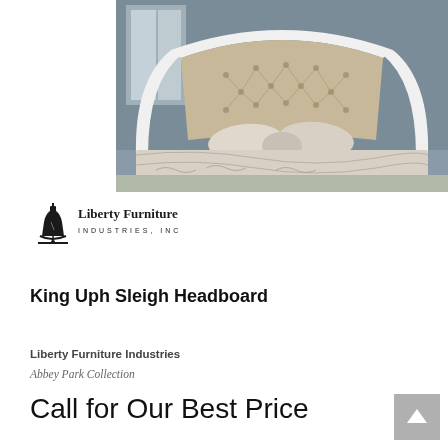[Figure (photo): King upholstered sleigh headboard with tufted beige/taupe fabric, white wood frame, decorated with ornate bedding in grey and ivory tones, photographed in a bedroom setting with grey walls]
[Figure (logo): Liberty Furniture Industries, Inc. logo with Liberty Bell icon and company name in serif font]
King Uph Sleigh Headboard
Liberty Furniture Industries
Abbey Park Collection
Call for Our Best Price